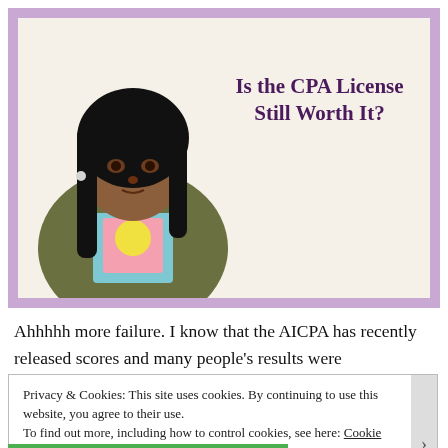[Figure (photo): Thumbnail image for a blog/video post titled 'Is the CPA License Still Worth It?' featuring a woman with long black hair wearing a graphic t-shirt, on a cream background with purple text.]
Ahhhhh more failure. I know that the AICPA has recently released scores and many people's results were
Privacy & Cookies: This site uses cookies. By continuing to use this website, you agree to their use.
To find out more, including how to control cookies, see here: Cookie Policy
Close and accept